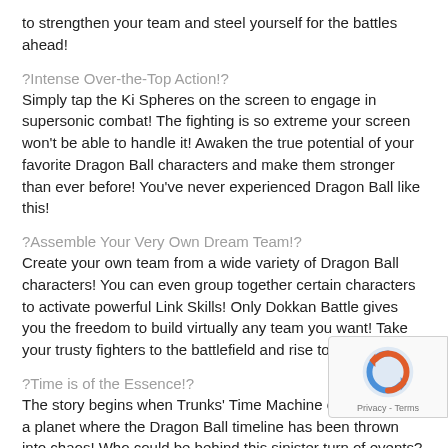to strengthen your team and steel yourself for the battles ahead!
?Intense Over-the-Top Action!?
Simply tap the Ki Spheres on the screen to engage in supersonic combat! The fighting is so extreme your screen won't be able to handle it! Awaken the true potential of your favorite Dragon Ball characters and make them stronger than ever before! You've never experienced Dragon Ball like this!
?Assemble Your Very Own Dream Team!?
Create your own team from a wide variety of Dragon Ball characters! You can even group together certain characters to activate powerful Link Skills! Only Dokkan Battle gives you the freedom to build virtually any team you want! Take your trusty fighters to the battlefield and rise to the top!
?Time is of the Essence!?
The story begins when Trunks' Time Machine crash-lands on a planet where the Dragon Ball timeline has been thrown into chaos! Who could be behind this sinister turn of events? W together with Trunks to get to the bottom of this mystery, battling legions of familiar foes along the way. The very fa the Dragon Ball universe rests on your shoulders!